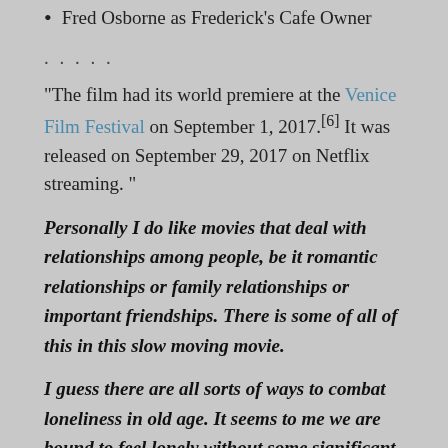Fred Osborne as Frederick's Cafe Owner
. . . . .
“The film had its world premiere at the Venice Film Festival on September 1, 2017.[6] It was released on September 29, 2017 on Netflix streaming.”
Personally I do like movies that deal with relationships among people, be it romantic relationships or family relationships or important friendships. There is some of all of this in this slow moving movie.
I guess there are all sorts of ways to combat loneliness in old age. It seems to me we are bound to feel lonely without some significant personal contacts.